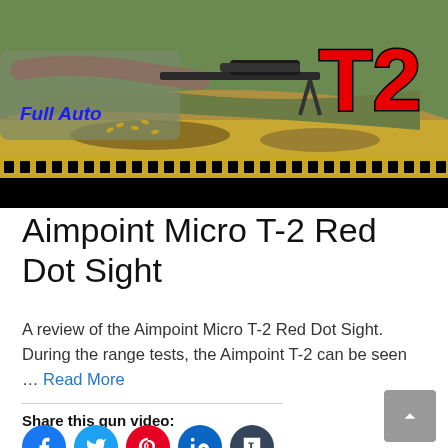[Figure (photo): Video thumbnail showing a person lying prone shooting a rifle with a bipod, with the text 'Full Auto' in blue italic font overlaid, a yellow filmstrip border at the bottom, and a large red 'T2' text on the right side on a black background.]
Aimpoint Micro T-2 Red Dot Sight
A review of the Aimpoint Micro T-2 Red Dot Sight. During the range tests, the Aimpoint T-2 can be seen … Read More
Share this gun video: